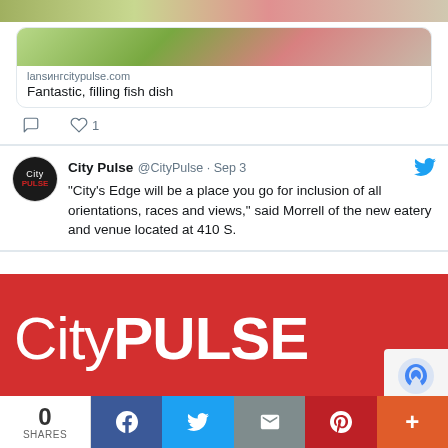[Figure (screenshot): Food photo showing a fish dish on a plate, cropped at top]
lansингcitypulse.com
Fantastic, filling fish dish
[Figure (screenshot): Tweet from City Pulse @CityPulse · Sep 3: "City's Edge will be a place you go for inclusion of all orientations, races and views," said Morrell of the new eatery and venue located at 410 S.]
[Figure (logo): CityPulse logo on red background]
1995 E. Michigan Ave
0 SHARES